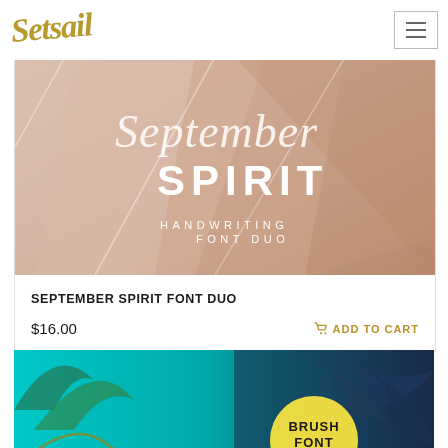Setsail
[Figure (illustration): September Spirit Handwriting Font Duo promotional banner: soft pink/beige watercolor background with white script text 'September Spirit' and 'HANDWRITING FONT DUO' in white serif capitals]
SEPTEMBER SPIRIT FONT DUO
$16.00
ADD TO CART
[Figure (illustration): Southy Brush Font promotional banner: teal and dark navy background with palm leaves, white brush script text 'Southy' and a yellow circle badge reading 'BRUSH FONT']